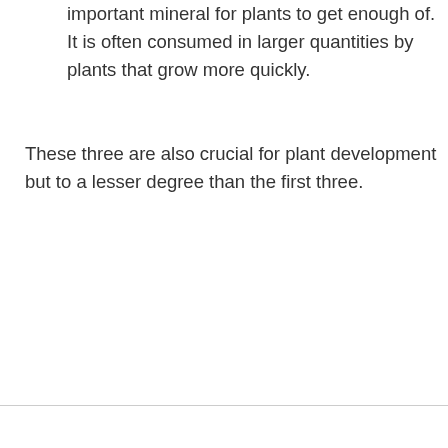important mineral for plants to get enough of. It is often consumed in larger quantities by plants that grow more quickly.
These three are also crucial for plant development but to a lesser degree than the first three.